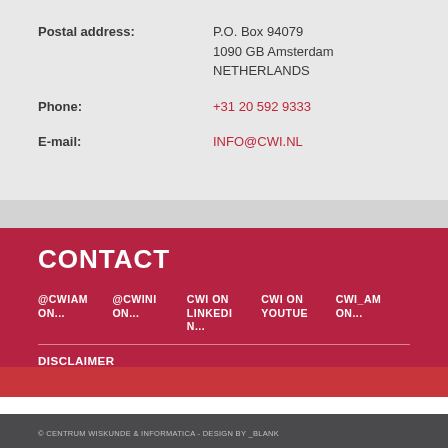Postal address: P.O. Box 94079
1090 GB Amsterdam
NETHERLANDS
Phone: +31 20 592 9333
E-mail: INFO@CWI.NL
CONTACT
@CWIAM... @CWINI... CWI ON LINKEDI... CWI ON YOUTUE... CWI_AM...
DISCLAIMER
© CENTRUM WISKUNDE & INFORMATICA - DESIGN BY _BLANK